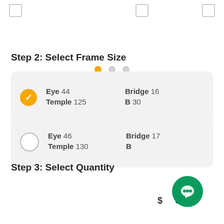[Figure (screenshot): Top navigation bar with checkboxes]
[Figure (infographic): Pagination dots: one active (orange), two inactive (gray)]
Step 2: Select Frame Size
Option 1 (selected): Eye 44, Temple 125, Bridge 16, B 30
Option 2: Eye 46, Temple 130, Bridge 17, B
Step 3: Select Quantity
[Figure (screenshot): Quantity selector showing minus button, value 1, plus button]
[Figure (screenshot): Green chat bubble icon in bottom right corner]